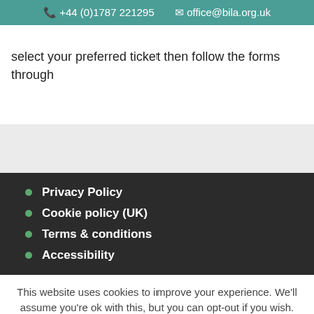+44 (0)1787 221295  office@bila.org.uk
select your preferred ticket then follow the forms through
Privacy Policy
Cookie policy (UK)
Terms & conditions
Accessibility
This website uses cookies to improve your experience. We'll assume you're ok with this, but you can opt-out if you wish.  Accept All  Settings  Read more